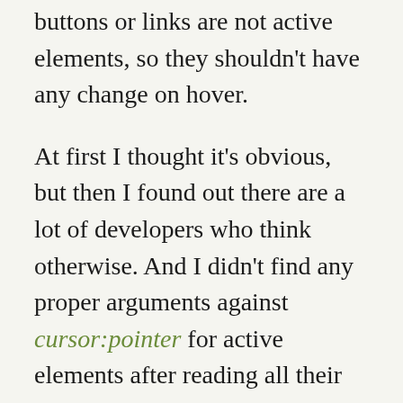buttons or links are not active elements, so they shouldn't have any change on hover.
At first I thought it's obvious, but then I found out there are a lot of developers who think otherwise. And I didn't find any proper arguments against cursor:pointer for active elements after reading all their points of view.
In this article I'll tell you my arguments at first, and then I'll